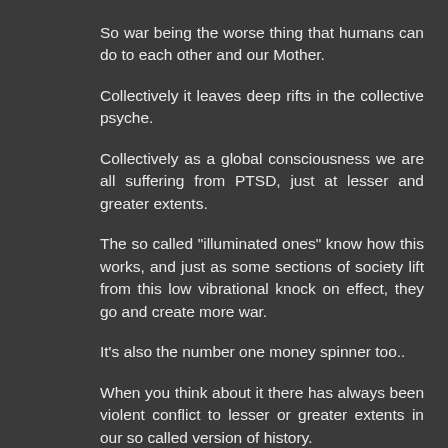So war being the worse thing that humans can do to each other and our Mother.
Collectively it leaves deep rifts in the collective psyche.
Collectively as a global consciousness we are all suffering from PTSD, just at lesser and greater extents.
The so called "illuminated ones" know how this works, and just as some sections of society lift from this low vibrational knock on effect, they go and create more war.
It's also the number one money spinner too..
When you think about it there has always been violent conflict to lesser or greater extents in our so called version of history.
And always the same shadow government has